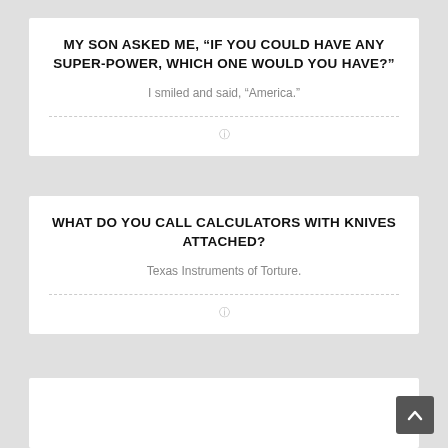MY SON ASKED ME, “IF YOU COULD HAVE ANY SUPER-POWER, WHICH ONE WOULD YOU HAVE?”
I smiled and said, “America.”
WHAT DO YOU CALL CALCULATORS WITH KNIVES ATTACHED?
Texas Instruments of Torture.